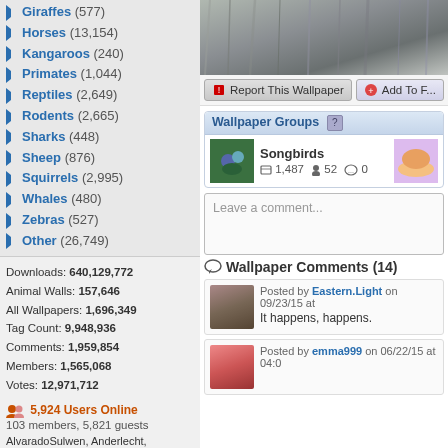Giraffes (577)
Horses (13,154)
Kangaroos (240)
Primates (1,044)
Reptiles (2,649)
Rodents (2,665)
Sharks (448)
Sheep (876)
Squirrels (2,995)
Whales (480)
Zebras (527)
Other (26,749)
Downloads: 640,129,772
Animal Walls: 157,646
All Wallpapers: 1,696,349
Tag Count: 9,948,936
Comments: 1,959,854
Members: 1,565,068
Votes: 12,971,712
5,924 Users Online
103 members, 5,821 guests
AlvaradoSulwen, Anderlecht, artinconstruction, Astro, BestPsychic000, bmpressurewashing2, Boatent98, boliou, brandbajade, bridgecounseling, brighterfinance, CarrollDentistry, cell-phone-hacking, chatonfragile, Cleaners567, ColbyRichardson,
[Figure (photo): Wallpaper image - abstract textured surface]
Report This Wallpaper   Add To F...
Wallpaper Groups
Songbirds
1,487  52  0
Leave a comment...
Wallpaper Comments (14)
Posted by Eastern.Light on 09/23/15 at
It happens, happens.
Posted by emma999 on 06/22/15 at 04:0